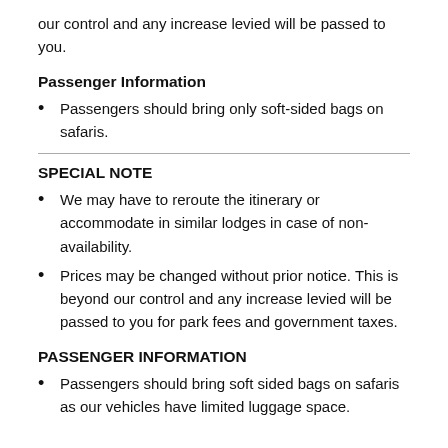our control and any increase levied will be passed to you.
Passenger Information
Passengers should bring only soft-sided bags on safaris.
SPECIAL NOTE
We may have to reroute the itinerary or accommodate in similar lodges in case of non-availability.
Prices may be changed without prior notice. This is beyond our control and any increase levied will be passed to you for park fees and government taxes.
PASSENGER INFORMATION
Passengers should bring soft sided bags on safaris as our vehicles have limited luggage space.